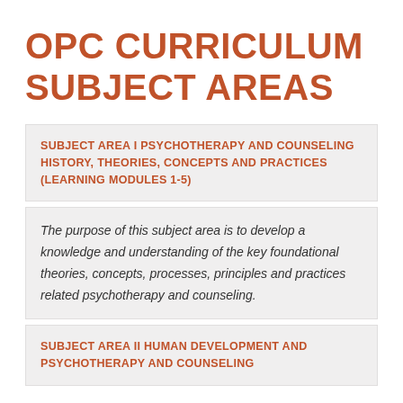OPC CURRICULUM SUBJECT AREAS
SUBJECT AREA I PSYCHOTHERAPY AND COUNSELING HISTORY, THEORIES, CONCEPTS AND PRACTICES (LEARNING MODULES 1-5)
The purpose of this subject area is to develop a knowledge and understanding of the key foundational theories, concepts, processes, principles and practices related psychotherapy and counseling.
SUBJECT AREA II HUMAN DEVELOPMENT AND PSYCHOTHERAPY AND COUNSELING